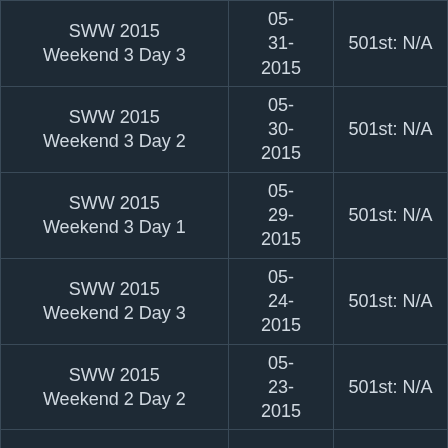| SWW 2015 Weekend 3 Day 3 | 05-31-2015 | 501st: N/A |
| SWW 2015 Weekend 3 Day 2 | 05-30-2015 | 501st: N/A |
| SWW 2015 Weekend 3 Day 1 | 05-29-2015 | 501st: N/A |
| SWW 2015 Weekend 2 Day 3 | 05-24-2015 | 501st: N/A |
| SWW 2015 Weekend 2 Day 2 | 05-23-2015 | 501st: N/A |
|  |  |  |